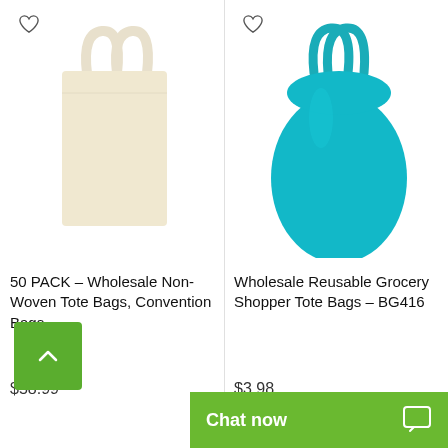[Figure (photo): Cream/beige non-woven tote bag with handles on white background]
50 PACK – Wholesale Non-Woven Tote Bags, Convention Bags,...
$58.99
[Figure (photo): Teal/turquoise reusable grocery shopper tote bag on white background]
Wholesale Reusable Grocery Shopper Tote Bags – BG416
$3.98
[Figure (screenshot): Green scroll-to-top button with up arrow, and green Chat now bar at bottom]